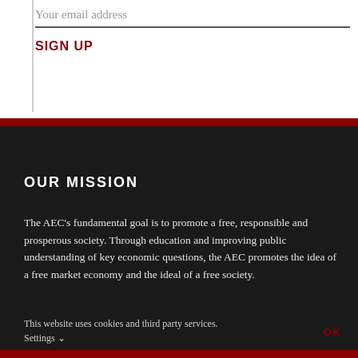Your email address
SIGN UP
OUR MISSION
The AEC's fundamental goal is to promote a free, responsible and prosperous society. Through education and improving public understanding of key economic questions, the AEC promotes the idea of a free market economy and the ideal of a free society.
This website uses cookies and third party services.
Settings ∨
OK